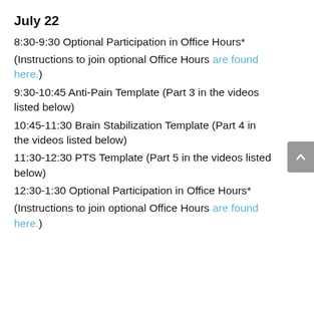July 22
8:30-9:30 Optional Participation in Office Hours*
(Instructions to join optional Office Hours are found here.)
9:30-10:45 Anti-Pain Template (Part 3 in the videos listed below)
10:45-11:30 Brain Stabilization Template (Part 4 in the videos listed below)
11:30-12:30 PTS Template (Part 5 in the videos listed below)
12:30-1:30 Optional Participation in Office Hours*
(Instructions to join optional Office Hours are found here.)